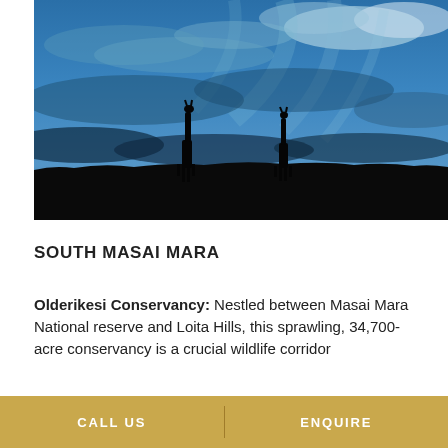[Figure (photo): Silhouette of two giraffes on an African savanna horizon against a dramatic blue cloudy sky at dusk/twilight]
SOUTH MASAI MARA
Olderikesi Conservancy: Nestled between Masai Mara National reserve and Loita Hills, this sprawling, 34,700-acre conservancy is a crucial wildlife corridor
CALL US    ENQUIRE